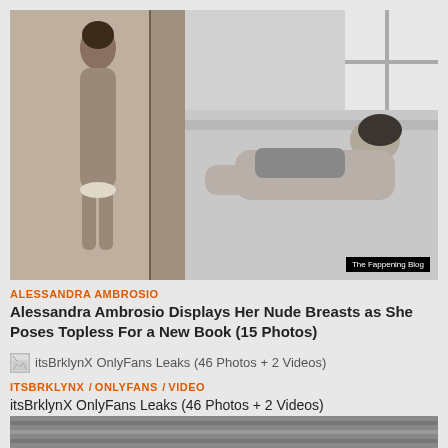[Figure (photo): Two black and white photos: left shows a woman posing topless, right shows a woman lying on a bed in black and white photography. Watermark reads 'The Fappening Blog'.]
ALESSANDRA AMBROSIO
Alessandra Ambrosio Displays Her Nude Breasts as She Poses Topless For a New Book (15 Photos)
[Figure (photo): Broken/loading thumbnail image icon]
itsBrklynX OnlyFans Leaks (46 Photos + 2 Videos)
ITSBRKLYNX / ONLYFANS / VIDEO
itsBrklynX OnlyFans Leaks (46 Photos + 2 Videos)
[Figure (photo): Partial image strip visible at the bottom of the page]